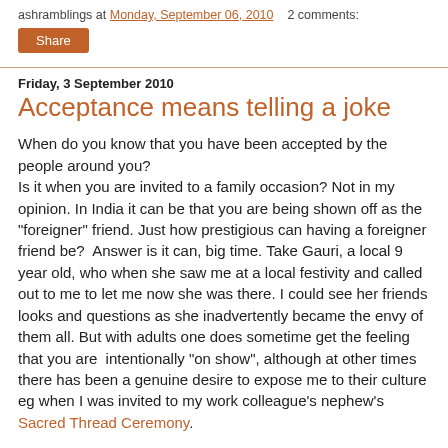ashramblings at Monday, September 06, 2010   2 comments:
Share
Friday, 3 September 2010
Acceptance means telling a joke
When do you know that you have been accepted by the people around you?
Is it when you are invited to a family occasion? Not in my opinion. In India it can be that you are being shown off as the "foreigner" friend. Just how prestigious can having a foreigner friend be?  Answer is it can, big time. Take Gauri, a local 9 year old, who when she saw me at a local festivity and called out to me to let me now she was there. I could see her friends looks and questions as she inadvertently became the envy of them all. But with adults one does sometime get the feeling that you are  intentionally "on show", although at other times there has been a genuine desire to expose me to their culture eg when I was invited to my work colleague's nephew's Sacred Thread Ceremony.